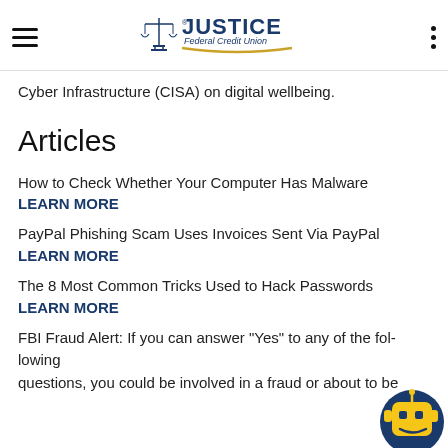Justice Federal Credit Union
Cyber Infrastructure (CISA) on digital wellbeing.
Articles
How to Check Whether Your Computer Has Malware
LEARN MORE
PayPal Phishing Scam Uses Invoices Sent Via PayPal
LEARN MORE
The 8 Most Common Tricks Used to Hack Passwords
LEARN MORE
FBI Fraud Alert: If you can answer "Yes" to any of the following questions, you could be involved in a fraud or about to be
[Figure (illustration): Chatbot robot icon in bottom right corner]